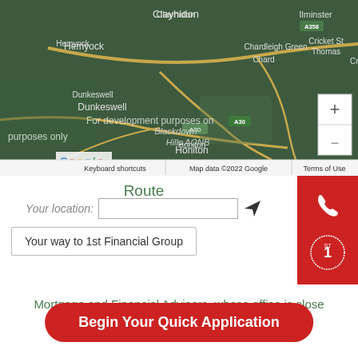[Figure (map): Google Maps screenshot showing area around Chard, Somerset/Devon, England. Visible place names include Clayhidon, Hemyock, Dunkeswell, Honiton, Chardleigh Green, Chard, Cricket St Thomas, Ilminster, Crewkerne area. Shows road network, Blackdown Hills AONB. Text overlay reads 'For development purposes only'. Google logo and map controls visible.]
Route
Your location:
Your way to 1st Financial Group
Mortgage and Financial Advisers, whose office is close and can come to you.
Begin Your Quick Application